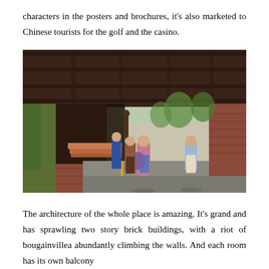characters in the posters and brochures, it's also marketed to Chinese tourists for the golf and the casino.
[Figure (photo): Photo of people walking through a covered hotel or resort entrance with brick architecture, lush greenery climbing walls, a security guard, and palm trees visible in the background.]
The architecture of the whole place is amazing. It's grand and has sprawling two story brick buildings, with a riot of bougainvillea abundantly climbing the walls. And each room has its own balcony